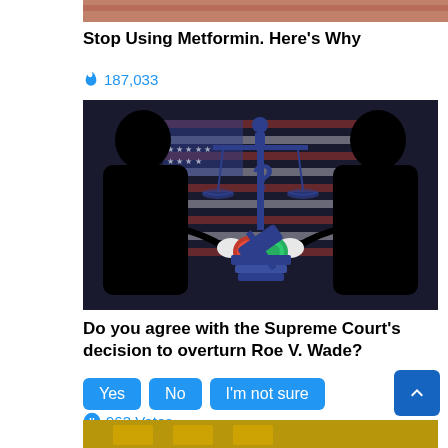[Figure (photo): Top partial image, cropped at top edge]
Stop Using Metformin. Here's Why
🔥 187,033
[Figure (illustration): Two black silhouettes facing each other against an American flag background. Left figure pressing a red button, right figure pressing a green button. Center shows scales of justice with a question mark and a gavel on books.]
Do you agree with the Supreme Court's decision to overturn Roe V. Wade?
Yes
No
I'm not sure
963 Votes
[Figure (photo): Partial bottom image, cut off at page edge]